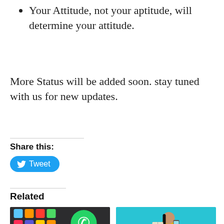Your Attitude, not your aptitude, will determine your attitude.
More Status will be added soon. stay tuned with us for new updates.
Share this:
[Figure (other): Tweet button with Twitter bird icon]
Related
[Figure (photo): Shayari WhatsApp Group Join Link: Attitude, Romantic — phone with WhatsApp icon]
[Figure (photo): South Indian WhatsApp Group Link Join List Free 100+ — illustrated girl reading a book]